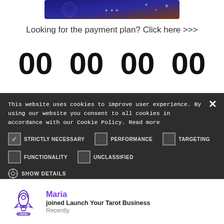[Figure (illustration): Dark blue banner image with stars and swirl designs at the top of the page]
Looking for the payment plan? Click here >>>
00  00  00  00
This website uses cookies to improve user experience. By using our website you consent to all cookies in accordance with our Cookie Policy. Read more
STRICTLY NECESSARY  PERFORMANCE  TARGETING  FUNCTIONALITY  UNCLASSIFIED
SHOW DETAILS
[Figure (illustration): Rocket icon in purple/blue outline style]
Maria
joined Launch Your Tarot Business
Recently